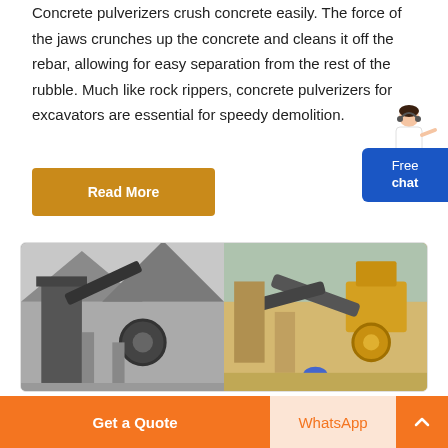Concrete pulverizers crush concrete easily. The force of the jaws crunches up the concrete and cleans it off the rebar, allowing for easy separation from the rest of the rubble. Much like rock rippers, concrete pulverizers for excavators are essential for speedy demolition.
Read More
[Figure (illustration): Customer service avatar - woman in white top with headset, gesturing with hand]
[Figure (infographic): Blue rounded rectangle chat widget with text 'Free chat']
[Figure (photo): Two photos side by side of industrial concrete crushing/mining machinery with conveyor belts at construction sites, with TRIOD watermark]
Get a Quote
WhatsApp